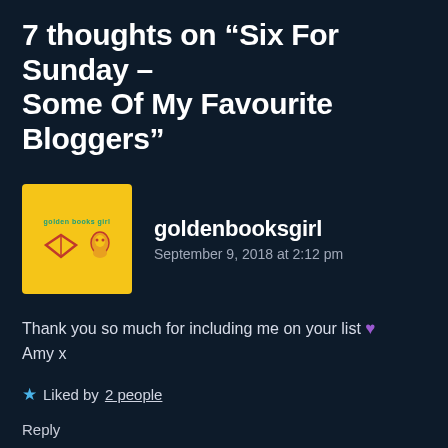7 thoughts on “Six For Sunday – Some Of My Favourite Bloggers”
[Figure (illustration): Yellow square avatar with goldenbooksgirl branding, showing a book icon and a small character icon in orange/red on yellow background]
goldenbooksgirl
September 9, 2018 at 2:12 pm
Thank you so much for including me on your list 💜 Amy x
★ Liked by 2 people
Reply